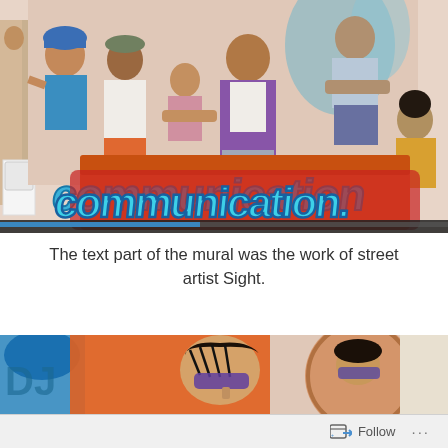[Figure (photo): Photograph of a colorful street mural on a building wall depicting multiple figures (people of various ethnicities) and large blue graffiti-style lettering spelling 'communication' on a red background]
The text part of the mural was the work of street artist Sight.
[Figure (photo): Partial photograph of the same mural showing close-up of illustrated figures including a person wearing sunglasses, with blue, orange, and tan colors]
Follow ...